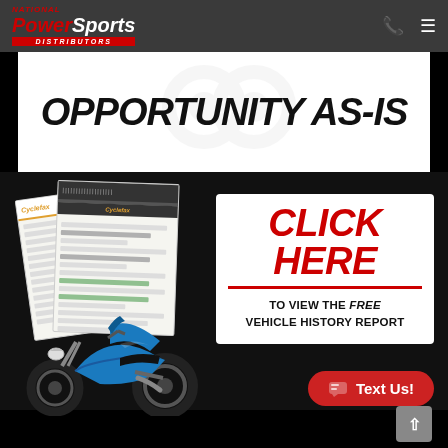National PowerSports Distributors
OPPORTUNITY AS-IS
[Figure (infographic): Vehicle history report documents fanned out with a blue sport motorcycle in front, next to a 'Click Here to View the Free Vehicle History Report' call-to-action button]
CLICK HERE
TO VIEW THE FREE VEHICLE HISTORY REPORT
Text Us!